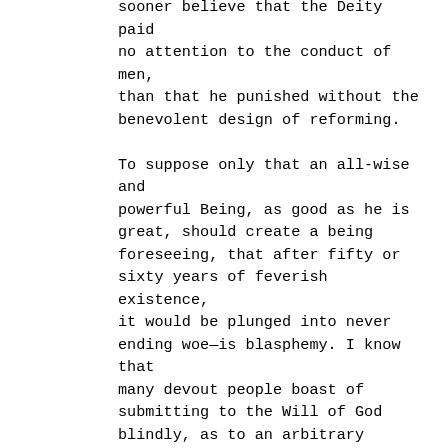sooner believe that the Deity paid no attention to the conduct of men, than that he punished without the benevolent design of reforming.

To suppose only that an all-wise and powerful Being, as good as he is great, should create a being foreseeing, that after fifty or sixty years of feverish existence, it would be plunged into never ending woe—is blasphemy. I know that many devout people boast of submitting to the Will of God blindly, as to an arbitrary sceptre or rod, on the same principle as the Indians worship the devil. In other words, like people in the common concerns of life, they homage to power, and cringe under the foot that can crush them. Rational religion, on the contrary, is a